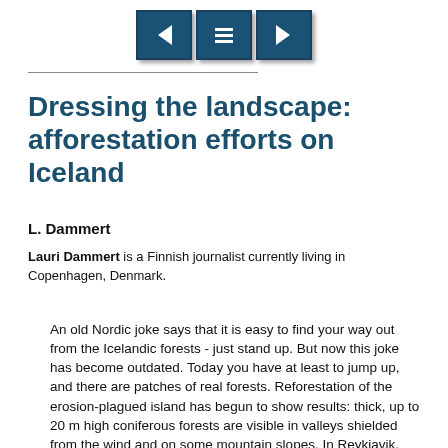[Figure (screenshot): Navigation bar with three buttons: left arrow (back), menu (list icon), and right arrow (forward), styled with dark teal background and drop shadows.]
Dressing the landscape: afforestation efforts on Iceland
L. Dammert
Lauri Dammert is a Finnish journalist currently living in Copenhagen, Denmark.
An old Nordic joke says that it is easy to find your way out from the Icelandic forests - just stand up. But now this joke has become outdated. Today you have at least to jump up, and there are patches of real forests. Reforestation of the erosion-plagued island has begun to show results: thick, up to 20 m high coniferous forests are visible in valleys shielded from the wind and on some mountain slopes. In Reykjavik, the capital, where only a few decades ago trees grew only in graveyards, the streets are being lined with imported broad-leaved trees. The new woodlands have also brought